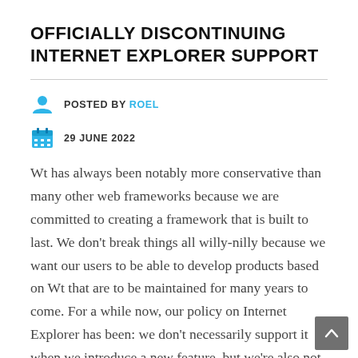OFFICIALLY DISCONTINUING INTERNET EXPLORER SUPPORT
POSTED BY ROEL
29 JUNE 2022
Wt has always been notably more conservative than many other web frameworks because we are committed to creating a framework that is built to last. We don't break things all willy-nilly because we want our users to be able to develop products based on Wt that are to be maintained for many years to come. For a while now, our policy on Internet Explorer has been: we don't necessarily support it when we introduce a new feature, but we're also not going to break existing features, at least not on purpose. It is about this time to reconsider that to...